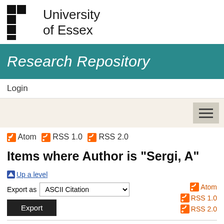[Figure (logo): University of Essex logo with checkered pattern and university name]
Research Repository
Login
[Figure (other): Navigation hamburger menu button on beige background]
Atom   RSS 1.0   RSS 2.0
Items where Author is "Sergi, A"
Up a level
Export as  ASCII Citation  Export
Atom  RSS 1.0  RSS 2.0